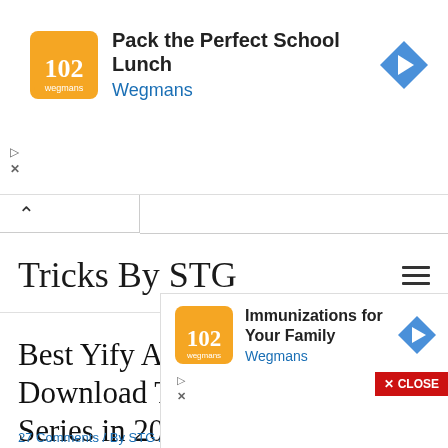[Figure (screenshot): Wegmans advertisement banner with orange logo, text 'Pack the Perfect School Lunch', blue 'Wegmans' link, and blue diamond arrow icon]
[Figure (screenshot): Browser tab with chevron up arrow indicating collapsed/minimized state]
Tricks By STG
Best Yify Alternative Sites to Download Torrent Movies and Series in 2022
27 Comments / By STG / Best Apps For
[Figure (screenshot): Wegmans advertisement overlay with orange logo, text 'Immunizations for Your Family', blue 'Wegmans' link, blue diamond arrow icon, and red CLOSE button]